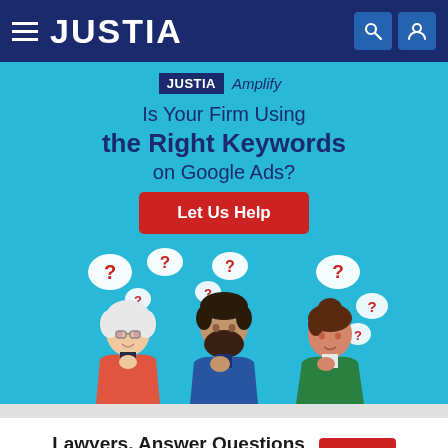JUSTIA
[Figure (infographic): Justia Amplify advertisement banner with text 'Is Your Firm Using the Right Keywords on Google Ads?' with a red 'Let Us Help' button, and illustration of three people with question mark thought bubbles]
Lawyers, Answer Questions & Get Points  Log In